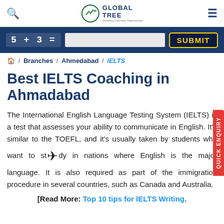Global Tree — Search | Hamburger menu
[Figure (infographic): CAPTCHA bar with '5 + 3 =' text input and SUBMIT button on dark blue background]
🏠 / Branches / Ahmedabad / IELTS
Best IELTS Coaching in Ahmadabad
The International English Language Testing System (IELTS) is a test that assesses your ability to communicate in English. It's similar to the TOEFL, and it's usually taken by students who want to study in nations where English is the major language. It is also required as part of the immigration procedure in several countries, such as Canada and Australia.
[Read More: Top 10 tips for IELTS Writing,